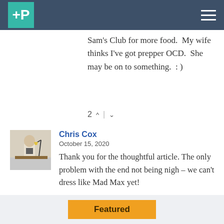P (logo) | hamburger menu
Sam's Club for more food.  My wife thinks I've got prepper OCD.  She may be on to something.  : )
2 ^ | v
Chris Cox
October 15, 2020
Thank you for the thoughtful article. The only problem with the end not being nigh – we can't dress like Mad Max yet!
5 ^ | v
Featured